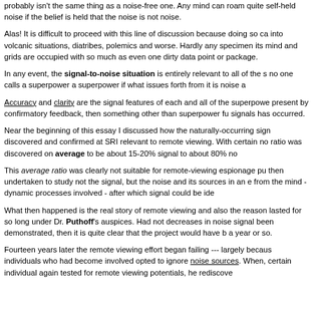probably isn't the same thing as a noise-free one. Any mind can roam quite self-held noise if the belief is held that the noise is not noise.
Alas! It is difficult to proceed with this line of discussion because doing so ca into volcanic situations, diatribes, polemics and worse. Hardly any specimen its mind and grids are occupied with so much as even one dirty data point or package.
In any event, the signal-to-noise situation is entirely relevant to all of the s no one calls a superpower a superpower if what issues forth from it is noise a
Accuracy and clarity are the signal features of each and all of the superpowe present by confirmatory feedback, then something other than superpower fu signals has occurred.
Near the beginning of this essay I discussed how the naturally-occurring sign discovered and confirmed at SRI relevant to remote viewing. With certain no ratio was discovered on average to be about 15-20% signal to about 80% no
This average ratio was clearly not suitable for remote-viewing espionage pu then undertaken to study not the signal, but the noise and its sources in an e from the mind - dynamic processes involved - after which signal could be ide
What then happened is the real story of remote viewing and also the reason lasted for so long under Dr. Puthoff's auspices. Had not decreases in noise signal been demonstrated, then it is quite clear that the project would have b a year or so.
Fourteen years later the remote viewing effort began failing --- largely becaus individuals who had become involved opted to ignore noise sources. When, certain individual again tested for remote viewing potentials, he rediscove